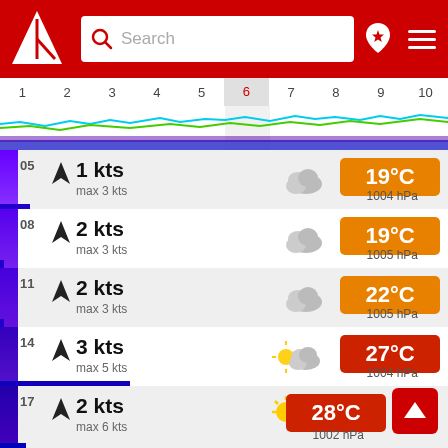[Figure (screenshot): App header with red background, white triangle logo, search bar, pin icon, and hamburger menu]
[Figure (line-chart): Timeline chart with days 1-10, day 6 highlighted, with blue, cyan, and green wave lines showing wind/weather data]
05  1 kts  max 3 kts  19°C  1004 hPa
08  2 kts  max 3 kts  19°C  1005 hPa
11  2 kts  max 3 kts  22°C  1005 hPa
14  3 kts  max 5 kts  27°C  1004 hPa
17  2 kts  max 6 kts  28°C  1002 hPa